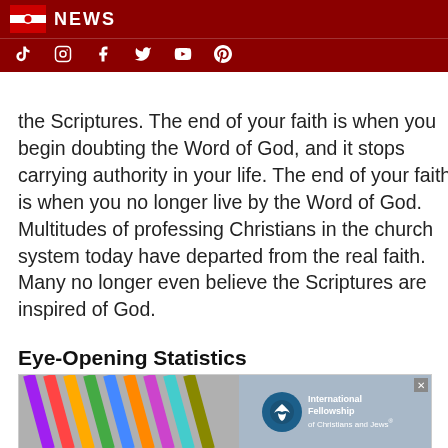NEWS
the Scriptures. The end of your faith is when you begin doubting the Word of God, and it stops carrying authority in your life. The end of your faith is when you no longer live by the Word of God. Multitudes of professing Christians in the church system today have departed from the real faith. Many no longer even believe the Scriptures are inspired of God.
Eye-Opening Statistics
[Figure (photo): Advertisement banner: colored pencils on left side, International Fellowship of Christians and Jews logo and text on right side with a close button. Below shows a sunset landscape image on left and 'Request your' text in bold white on gray-blue background.]